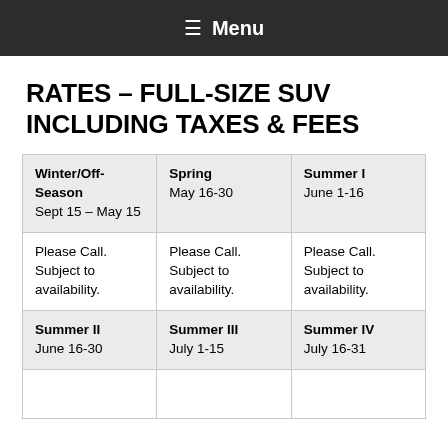Menu
RATES – FULL-SIZE SUV INCLUDING TAXES & FEES
| Winter/Off-Season Sept 15 – May 15 | Spring May 16-30 | Summer I June 1-16 |
| --- | --- | --- |
| Please Call. Subject to availability. | Please Call. Subject to availability. | Please Call. Subject to availability. |
| Summer II June 16-30 | Summer III July 1-15 | Summer IV July 16-31 |
|  |  |  |